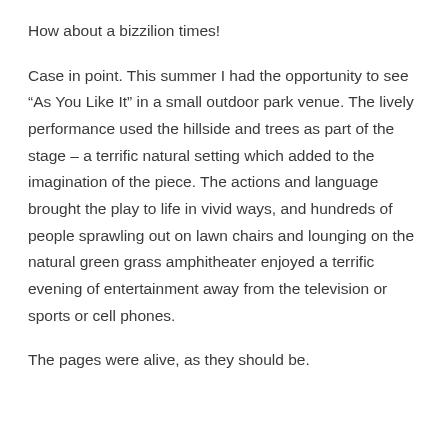How about a bizzilion times!
Case in point. This summer I had the opportunity to see “As You Like It” in a small outdoor park venue. The lively performance used the hillside and trees as part of the  stage – a terrific natural setting which added to the imagination of the piece. The actions and language brought the play to life in vivid ways, and hundreds of people sprawling out on lawn chairs and lounging on the natural green grass amphitheater enjoyed a terrific evening of entertainment away from the television or sports or cell phones.
The pages were alive, as they should be.